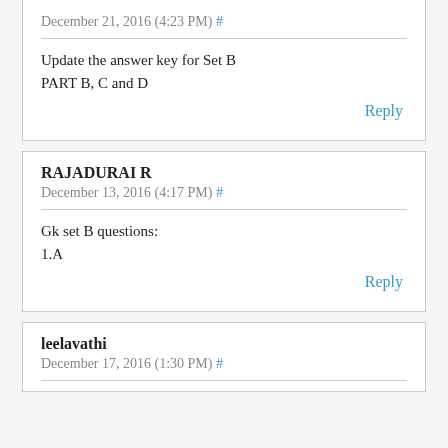December 21, 2016 (4:23 PM) #
Update the answer key for Set B
PART B, C and D
Reply
RAJADURAI R
December 13, 2016 (4:17 PM) #
Gk set B questions:
1.A
Reply
leelavathi
December 17, 2016 (1:30 PM) #